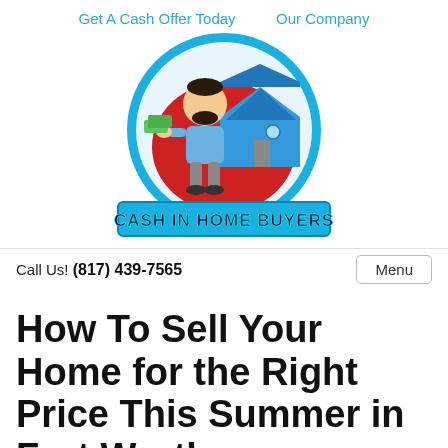Get A Cash Offer Today   Our Company
[Figure (logo): Cash In Home Buyers logo — cartoon man holding cash in front of a house, with circular blue background and bold cyan text reading CASH IN HOME BUYERS]
Call Us! (817) 439-7565    Menu
How To Sell Your Home for the Right Price This Summer in Fort Worth
June 2, 2020